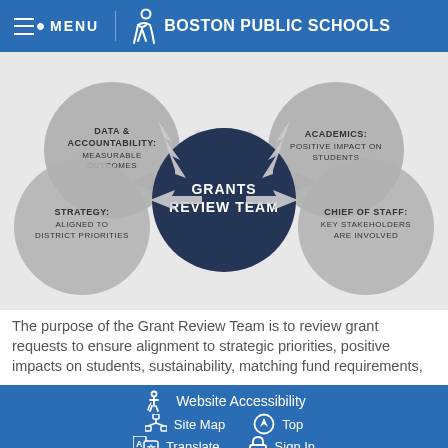MENU  BOSTON PUBLIC SCHOOLS
[Figure (infographic): Circular diagram showing the Grants Review Team at the center (dark navy circle) with four surrounding gray circles connected by arrows: Data & Accountability: Measurable Outcomes (top-left), Academics: Positive Impact on Students (top-right), Strategy: Aligned to District Priorities (middle-left), Chief of Staff: Key Stakeholders Are Involved (middle-right). Arrows point inward toward the center.]
The purpose of the Grant Review Team is to review grant requests to ensure alignment to strategic priorities, positive impacts on students, sustainability, matching fund requirements,
Website Accessibility  Site Map  Top  Translate  Sign In